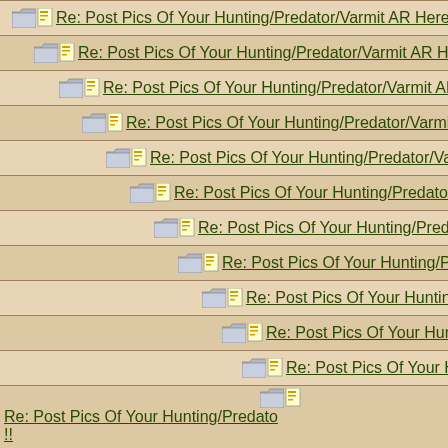Re: Post Pics Of Your Hunting/Predator/Varmit AR Here !!
Re: Post Pics Of Your Hunting/Predator/Varmit AR Here !!
Re: Post Pics Of Your Hunting/Predator/Varmit AR Here
Re: Post Pics Of Your Hunting/Predator/Varmit AR He
Re: Post Pics Of Your Hunting/Predator/Varmit AR He
Re: Post Pics Of Your Hunting/Predator/Varmit AR H
Re: Post Pics Of Your Hunting/Predator/Varmit AR
Re: Post Pics Of Your Hunting/Predator/Varmit
Re: Post Pics Of Your Hunting/Predator/Varm
Re: Post Pics Of Your Hunting/Predator/Va
Re: Post Pics Of Your Hunting/Predator/
Re: Post Pics Of Your Hunting/Predato !!
Re: Post Pics Of Your Hunting/Preda Here !!
Re: Post Pics Of Your Hunting/Predator/
Re: Post Pics Of Your Hunting/Predator/Varmit AR Here
Re: Post Pics Of Your Hunting/Predator/Varmit AR He
Re: Post Pics Of Your Hunting/Predator/Varmit AR Here !!